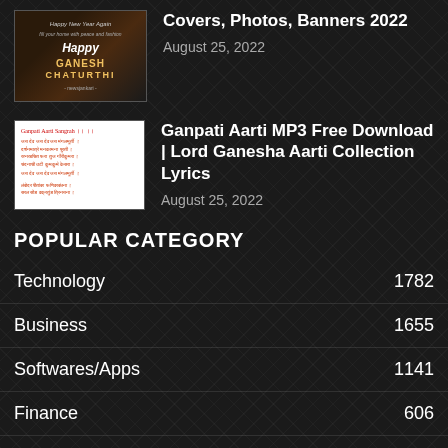[Figure (photo): Ganesh Chaturthi themed image with decorative text and golden/green colors]
Covers, Photos, Banners 2022
August 25, 2022
[Figure (photo): Ganpati Aarti text in Devanagari/Gujarati script on white background with orange text]
Ganpati Aarti MP3 Free Download | Lord Ganesha Aarti Collection Lyrics
August 25, 2022
POPULAR CATEGORY
Technology 1782
Business 1655
Softwares/Apps 1141
Finance 606
Sports/Games 560
Resources 533